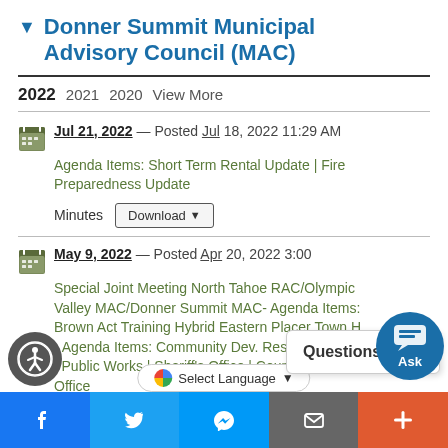Donner Summit Municipal Advisory Council (MAC)
2022  2021  2020  View More
Jul 21, 2022 — Posted Jul 18, 2022 11:29 AM
Agenda Items: Short Term Rental Update | Fire Preparedness Update
Minutes  Download
May 9, 2022 — Posted Apr 20, 2022 3:00
Special Joint Meeting North Tahoe RAC/Olympic Valley MAC/Donner Summit MAC- Agenda Items: Brown Act Training Hybrid Eastern Placer Town H- Agenda Items: Community Dev. Resource Agency | Public Works | Sheriff's Office | County Executive Office